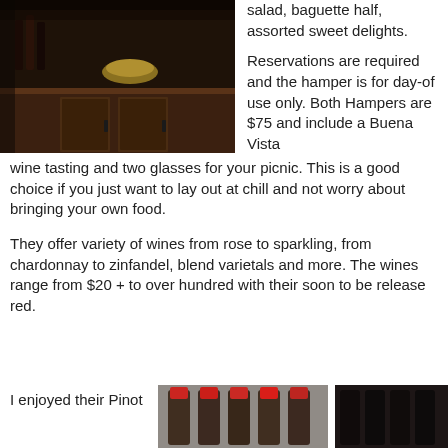[Figure (photo): Interior of a wine bar or cellar with dark wooden furniture, bottles on shelves, and decorative items on top]
salad, baguette half, assorted sweet delights.
Reservations are required and the hamper is for day-of use only. Both Hampers are $75 and include a Buena Vista wine tasting and two glasses for your picnic. This is a good choice if you just want to lay out at chill and not worry about bringing your own food.
They offer variety of wines from rose to sparkling, from chardonnay to zinfandel, blend varietals and more. The wines range from $20 + to over hundred with their soon to be release red.
I enjoyed their Pinot
[Figure (photo): Wine bottles with red foil tops arranged together]
[Figure (photo): Dark wine bottles close-up]